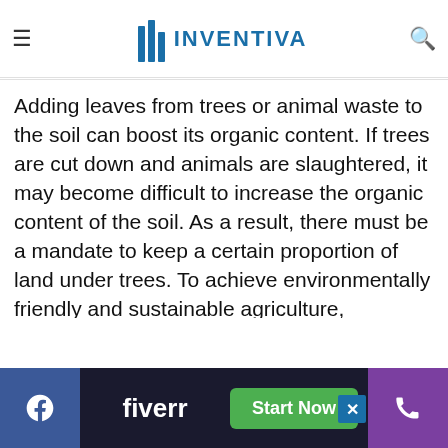reduced to sand. If the current trend continues, a [portion of] cultivated land will become desert in the next 10-15 years.
Adding leaves from trees or animal waste to the soil can boost its organic content. If trees are cut down and animals are slaughtered, it may become difficult to increase the organic content of the soil. As a result, there must be a mandate to keep a certain proportion of land under trees. To achieve environmentally friendly and sustainable agriculture, excessive reliance on chemical fertilisers must be gradually reduced.
To prevent desertification, the organic content o[f]
[Figure (other): Bottom advertisement banner with Fiverr logo and 'Start Now' green button, flanked by Facebook icon on left and phone icon on right on a dark background]